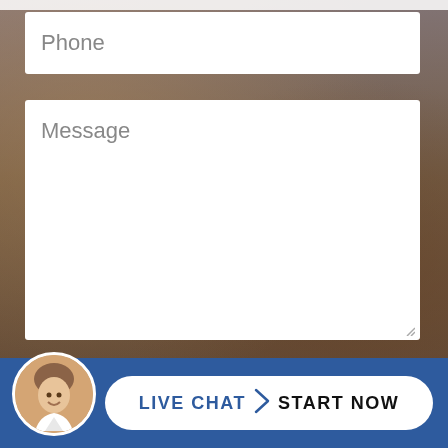[Figure (screenshot): Web contact form on background showing architectural building with bare trees. Contains Phone input field, Message textarea, disclaimer checkbox, and live chat bar.]
Phone
Message
I Have Read The Disclaimer *
LIVE CHAT  START NOW